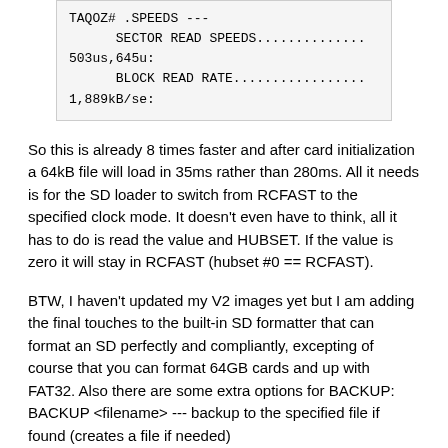[Figure (screenshot): Terminal/code block showing TAQOZ# .SPEEDS command output with SECTOR READ SPEEDS and BLOCK READ RATE values]
So this is already 8 times faster and after card initialization a 64kB file will load in 35ms rather than 280ms. All it needs is for the SD loader to switch from RCFAST to the specified clock mode. It doesn't even have to think, all it has to do is read the value and HUBSET. If the value is zero it will stay in RCFAST (hubset #0 == RCFAST).
BTW, I haven't updated my V2 images yet but I am adding the final touches to the built-in SD formatter that can format an SD perfectly and compliantly, excepting of course that you can format 64GB cards and up with FAT32. Also there are some extra options for BACKUP:
BACKUP <filename> --- backup to the specified file if found (creates a file if needed)
BACKUP BIX --- backup to _BOOT_P2.BIX
BACKUP MBR --- backup to sector 1 and set MBR signature (FAT32 not required)